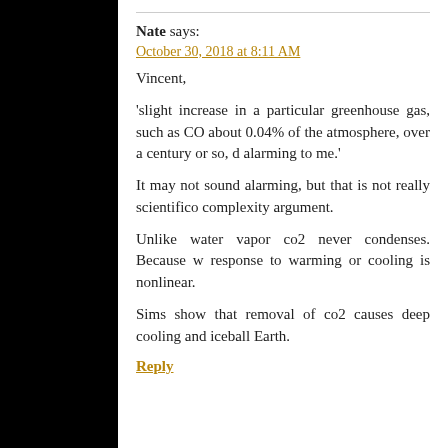Nate says:
October 30, 2018 at 8:11 AM
Vincent,
'slight increase in a particular greenhouse gas, such as CO about 0.04% of the atmosphere, over a century or so, d alarming to me.'
It may not sound alarming, but that is not really scientific complexity argument.
Unlike water vapor co2 never condenses. Because w response to warming or cooling is nonlinear.
Sims show that removal of co2 causes deep cooling and iceball Earth.
Reply